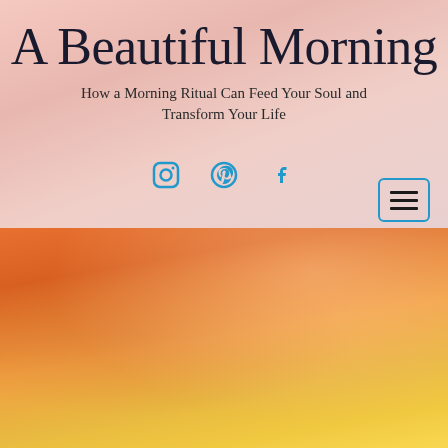A Beautiful Morning
How a Morning Ritual Can Feed Your Soul and Transform Your Life
[Figure (illustration): Social media icons: Instagram, Pinterest, Facebook in teal/blue color]
[Figure (illustration): Hamburger menu button with three horizontal lines, teal border, rounded rectangle]
[Figure (photo): Dramatic orange and yellow sunset sky with clouds]
OVERWHELMED?
CRAVING A SENSE OF CALM AMIDST THE CHAOS?